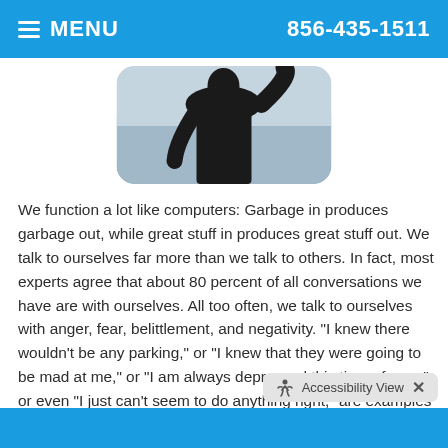☰ MENU   856-435-1511
[Figure (photo): A silhouette of a person in dark clothing photographed from behind against a grey cloudy sky background, with a rounded rectangle crop.]
We function a lot like computers: Garbage in produces garbage out, while great stuff in produces great stuff out. We talk to ourselves far more than we talk to others. In fact, most experts agree that about 80 percent of all conversations we have are with ourselves. All too often, we talk to ourselves with anger, fear, belittlement, and negativity. "I knew there wouldn't be any parking," or "I knew that they were going to be mad at me," or "I am always depressed this time of year," or even "I just can't seem to do anything right," are examples of the kind of negative inner talk we play over and over again in our minds. We acknowledge our ability to manifest our inner thinking and yet the majority of our inner thinking is negative and demeaning.